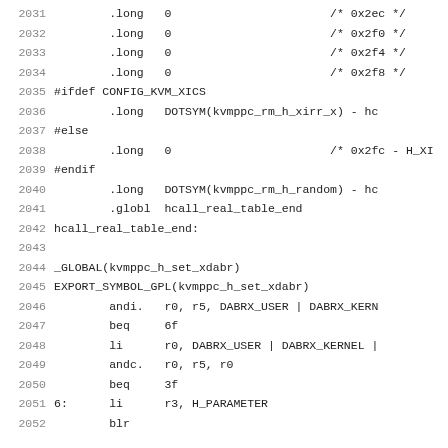Assembly/C source code listing, lines 2031-2052, showing kernel KVM hcall table definitions in assembly language.